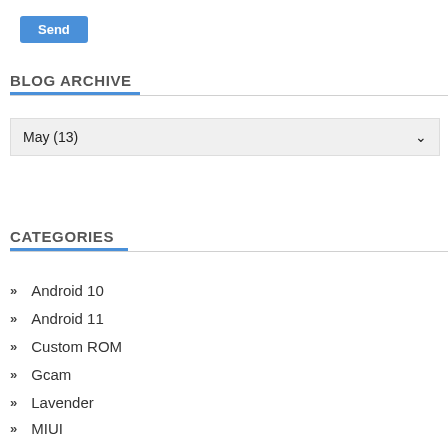[Figure (other): Blue 'Send' button at top left]
BLOG ARCHIVE
May (13)
CATEGORIES
Android 10
Android 11
Custom ROM
Gcam
Lavender
MIUI
MIUI 12